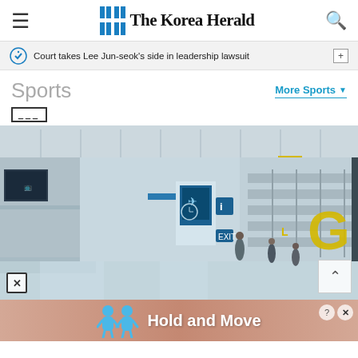The Korea Herald
Court takes Lee Jun-seok's side in leadership lawsuit
Sports
More Sports
[Figure (photo): Airport terminal interior showing check-in area with gate signs F, G, L, travelers walking through spacious terminal hall with reflective floor]
[Figure (infographic): Advertisement banner showing two blue cartoon figures with text 'Hold and Move' on a peach/salmon gradient background, with help and close buttons]